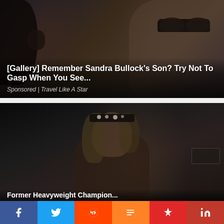[Figure (photo): Dark photo of two people, one with sunglasses, used as thumbnail background for celebrity article]
[Gallery] Remember Sandra Bullock's Son? Try Not To Gasp When You See...
Sponsored | Travel Like A Star
[Figure (photo): Dark photo of a young male wrestler with a bandana/headband, blond hair, wearing a dark tank top]
Former Heavyweight Champion...
f  Twitter  Reddit  Mix  Flipboard  in